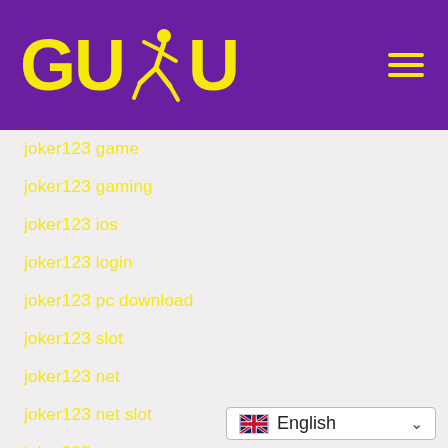[Figure (logo): GUDU logo with runner icon in yellow on purple background, with hamburger menu icon on right]
joker123 game
joker123 gaming
joker123 ios
joker123 login
joker123 pc download
joker123 slot
joker123 net
joker123 net slot
joker388
jonmo nibondhon
Juan Pablo Carrasco de Groote
judi
English